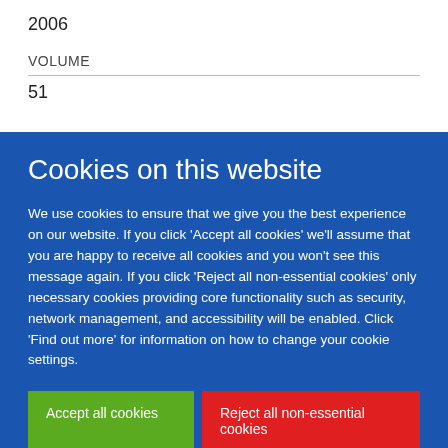2006
VOLUME
51
Cookies on this website
We use cookies to ensure that we give you the best experience on our website. If you click 'Accept all cookies' we'll assume that you are happy to receive all cookies and you won't see this message again. If you click 'Reject all non-essential cookies' only necessary cookies providing core functionality such as security, network management, and accessibility will be enabled. Click 'Find out more' for information on how to change your cookie settings.
Accept all cookies
Reject all non-essential cookies